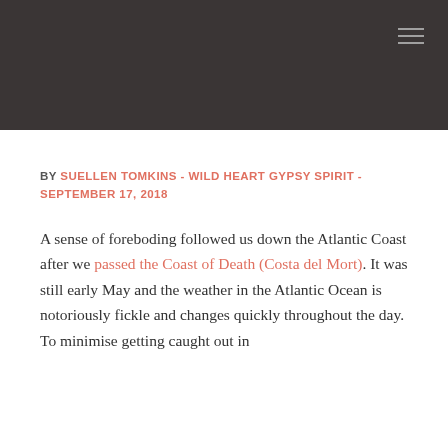[Figure (other): Dark grey/charcoal navigation header bar with hamburger menu icon in the top right corner]
BY SUELLEN TOMKINS - WILD HEART GYPSY SPIRIT - SEPTEMBER 17, 2018
A sense of foreboding followed us down the Atlantic Coast after we passed the Coast of Death (Costa del Mort). It was still early May and the weather in the Atlantic Ocean is notoriously fickle and changes quickly throughout the day. To minimise getting caught out in